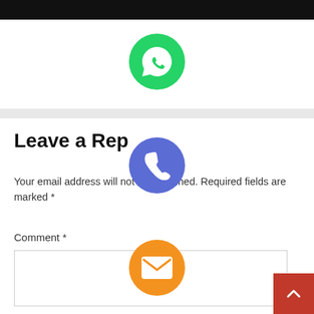[Figure (screenshot): Top portion showing black bar at top, white area, and social sharing buttons overlaid vertically in center: WhatsApp (green), Phone (blue/indigo), Email (orange), LINE (green), Viber (purple), Close (green with X)]
Leave a Reply
Your email address will not be published. Required fields are marked *
Comment *
[Figure (screenshot): Comment text area input box, empty white box with border]
[Figure (other): Back to top button, red square at bottom right with white up arrow chevron]